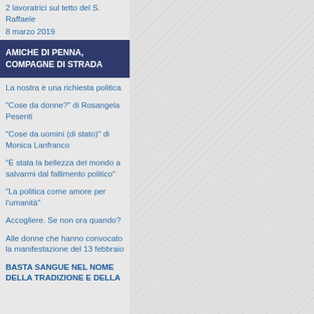2 lavoratrici sul tetto del S. Raffaele
8 marzo 2019
AMICHE DI PENNA, COMPAGNE DI STRADA
La nostra è una richiesta politica
"Cose da donne?" di Rosangela Pesenti
"Cose da uomini (di stato)" di Monica Lanfranco
"È stata la bellezza del mondo a salvarmi dal fallimento politico"
"La politica come amore per l'umanità"
Accogliere. Se non ora quando?
Alle donne che hanno convocato la manifestazione del 13 febbraio
BASTA SANGUE NEL NOME DELLA TRADIZIONE E DELLA